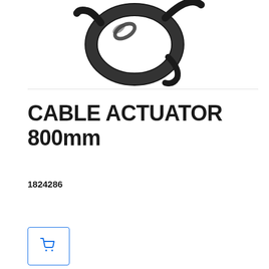[Figure (photo): Product photo of a black Cable Actuator 800mm component, showing a coiled/looped black cable or ring-shaped actuator part against a white background]
CABLE ACTUATOR 800mm
1824286